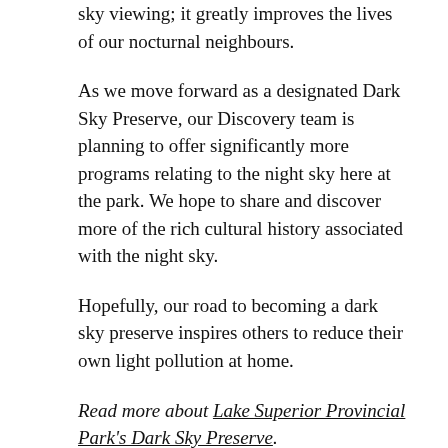sky viewing; it greatly improves the lives of our nocturnal neighbours.
As we move forward as a designated Dark Sky Preserve, our Discovery team is planning to offer significantly more programs relating to the night sky here at the park. We hope to share and discover more of the rich cultural history associated with the night sky.
Hopefully, our road to becoming a dark sky preserve inspires others to reduce their own light pollution at home.
Read more about Lake Superior Provincial Park's Dark Sky Preserve.
Planning to visit? Lake Superior Provincial Park is located less than two hours west of Sault Ste. Marie